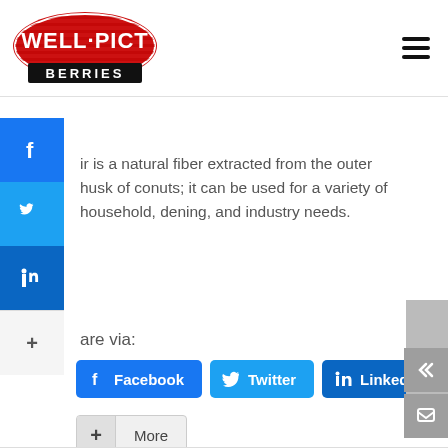[Figure (logo): Well-Pict Berries logo — red oval with horizontal stripes, white bold text 'WELL·PICT', black banner at bottom reading 'BERRIES']
ir is a natural fiber extracted from the outer husk of conuts; it can be used for a variety of household, dening, and industry needs.
are via:
Facebook
Twitter
LinkedIn
+ More